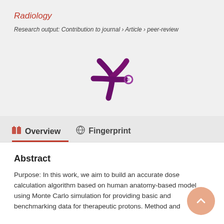Radiology
Research output: Contribution to journal › Article › peer-review
[Figure (logo): Altmetric/ResearchGate style logo: dark purple snowflake/asterisk shape with a small purple-outlined circle to its right]
Overview
Fingerprint
Abstract
Purpose: In this work, we aim to build an accurate dose calculation algorithm based on human anatomy-based model using Monte Carlo simulation for providing basic and benchmarking data for therapeutic protons. Method and